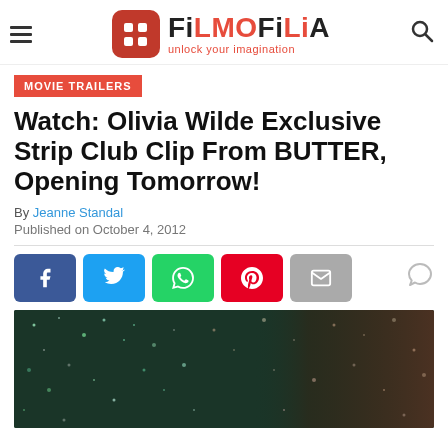FiLMOFiLiA – unlock your imagination
MOVIE TRAILERS
Watch: Olivia Wilde Exclusive Strip Club Clip From BUTTER, Opening Tomorrow!
By Jeanne Standal
Published on October 4, 2012
[Figure (photo): Article thumbnail photo of a woman in a strip club scene with glittery background lighting]
[Figure (logo): FiLMOFiLiA logo with red rounded square icon containing white dots and text 'unlock your imagination']